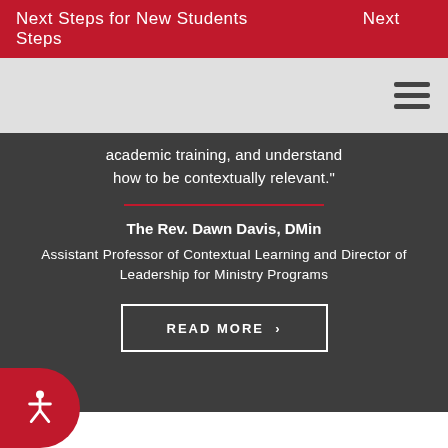Next Steps for New Students   Next Steps
academic training, and understand how to be contextually relevant."
The Rev. Dawn Davis, DMin
Assistant Professor of Contextual Learning and Director of Leadership for Ministry Programs
READ MORE >
[Figure (other): Play and pause media controls (play triangle and pause double-bar icons) on dark background]
[Figure (other): Accessibility icon button (wheelchair symbol) in red rounded button on white background]